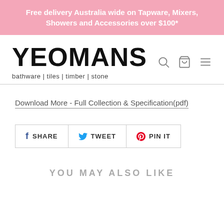Free delivery Australia wide on Tapware, Mixers, Showers and Accessories over $100*
[Figure (logo): Yeomans logo with text YEOMANS in large bold black font, tagline: bathware | tiles | timber | stone]
Download More - Full Collection & Specification(pdf)
SHARE  TWEET  PIN IT
YOU MAY ALSO LIKE